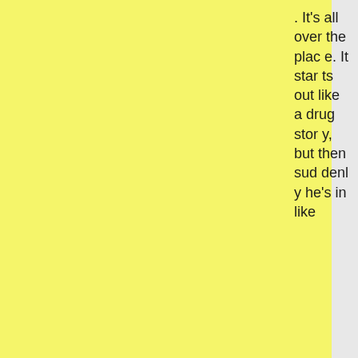. It's all over the place. It starts out like a drug story, but then suddenly he's in like